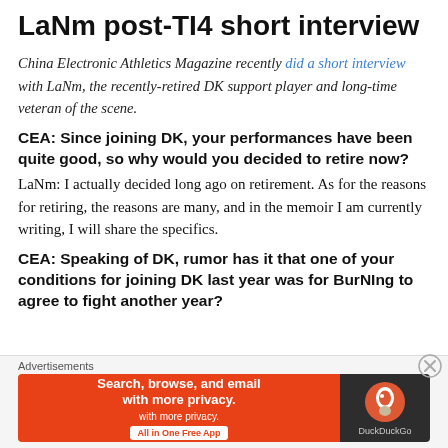LaNm post-TI4 short interview
China Electronic Athletics Magazine recently did a short interview with LaNm, the recently-retired DK support player and long-time veteran of the scene.
CEA: Since joining DK, your performances have been quite good, so why would you decided to retire now?
LaNm: I actually decided long ago on retirement. As for the reasons for retiring, the reasons are many, and in the memoir I am currently writing, I will share the specifics.
CEA: Speaking of DK, rumor has it that one of your conditions for joining DK last year was for BurNIng to agree to fight another year?
Advertisements
[Figure (infographic): DuckDuckGo advertisement banner: 'Search, browse, and email with more privacy. All in One Free App' with DuckDuckGo logo on dark background.]